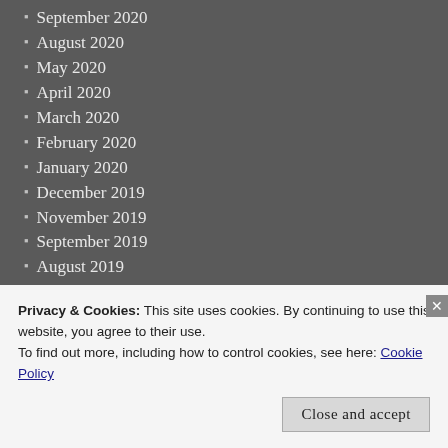September 2020
August 2020
May 2020
April 2020
March 2020
February 2020
January 2020
December 2019
November 2019
September 2019
August 2019
July 2019
June 2019
May 2019
March 2019
February 2019
January 2019
Privacy & Cookies: This site uses cookies. By continuing to use this website, you agree to their use.
To find out more, including how to control cookies, see here: Cookie Policy
Close and accept